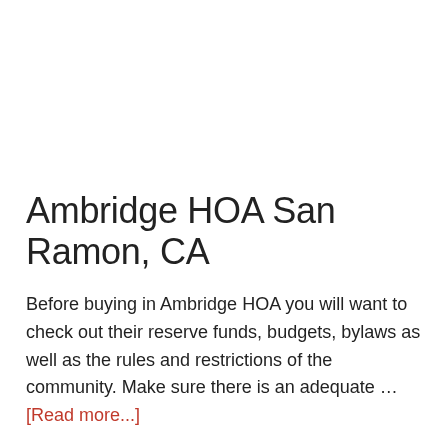Ambridge HOA San Ramon, CA
Before buying in Ambridge HOA you will want to check out their reserve funds, budgets, bylaws as well as the rules and restrictions of the community. Make sure there is an adequate … [Read more...]
Bear Creek HOA San Ramon, CA
Before buying in Bear Creek HOA you will want to check